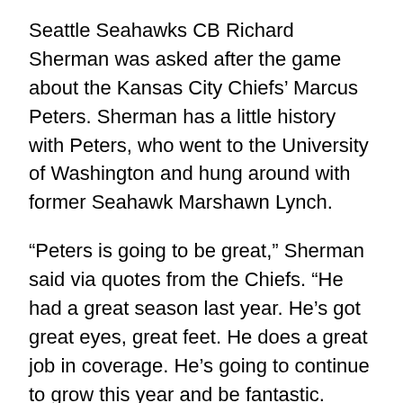Seattle Seahawks CB Richard Sherman was asked after the game about the Kansas City Chiefs' Marcus Peters. Sherman has a little history with Peters, who went to the University of Washington and hung around with former Seahawk Marshawn Lynch.
“Peters is going to be great,” Sherman said via quotes from the Chiefs. “He had a great season last year. He’s got great eyes, great feet. He does a great job in coverage. He’s going to continue to grow this year and be fantastic.
“We talked a little bit at the Pro Bowl. We talked a little bit when he was at UW. Marshawn would bring him in from time to time. He plays an entirely different style than I play. He does a great job of route recognition. He trusts and believes in his instincts and he plays the